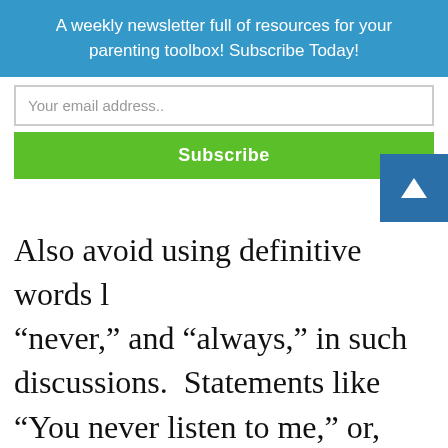A weekly newsletter full of resources for your parenting toolbox! Subscribe Today!
Your email address..
Subscribe
Also avoid using definitive words like “never,” and “always,” in such discussions.  Statements like “You never listen to me,” or, “You always come home late,” attack their character, not the behavior. The more you attack their character, the more likely they’ll feel the need to defend